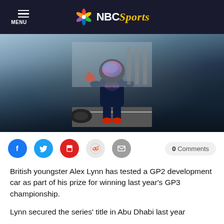NBC Sports
[Figure (photo): Racing driver in Red Bull livery suit and helmet giving thumbs up on track pit lane, Abu Dhabi circuit]
0 Comments
British youngster Alex Lynn has tested a GP2 development car as part of his prize for winning last year's GP3 championship.
Lynn secured the series' title in Abu Dhabi last year